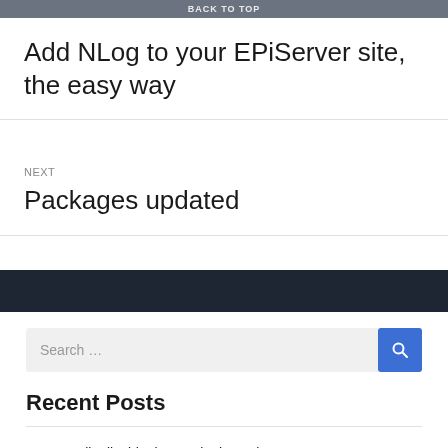BACK TO TOP
Add NLog to your EPiServer site, the easy way
NEXT
Packages updated
Search …
Recent Posts
Temporarily disable the catalogitem change manager
Retrieve localizations through an api